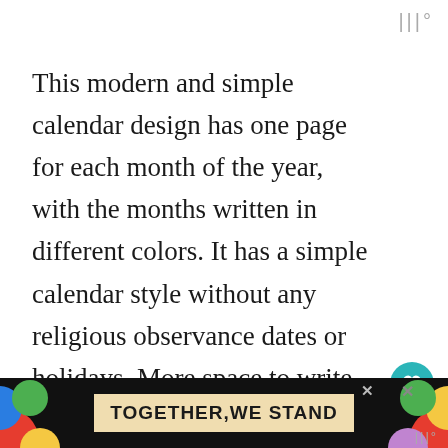|||°
This modern and simple calendar design has one page for each month of the year, with the months written in different colors. It has a simple calendar style without any religious observance dates or holidays. More space to write in allows you to make your own custom calendar by adding doodles, stamps, washi tape, or just w...
[Figure (other): Teal heart/favorite button with count of 2 and a share button below it]
[Figure (other): Advertisement banner: colorful decorative shapes on left and right with black background, center cream area with bold text TOGETHER,WE STAND, close button X visible]